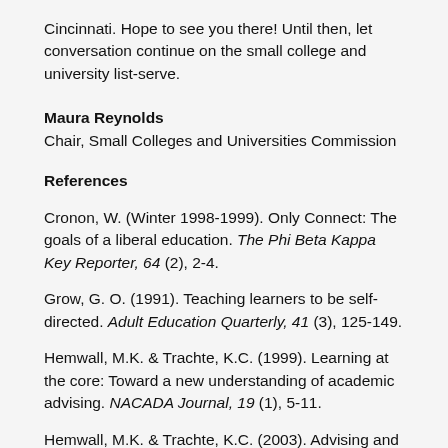Cincinnati. Hope to see you there! Until then, let conversation continue on the small college and university list-serve.
Maura Reynolds
Chair, Small Colleges and Universities Commission
References
Cronon, W. (Winter 1998-1999). Only Connect: The goals of a liberal education. The Phi Beta Kappa Key Reporter, 64 (2), 2-4.
Grow, G. O. (1991). Teaching learners to be self-directed. Adult Education Quarterly, 41 (3), 125-149.
Hemwall, M.K. & Trachte, K.C. (1999). Learning at the core: Toward a new understanding of academic advising. NACADA Journal, 19 (1), 5-11.
Hemwall, M.K. & Trachte, K.C. (2003). Advising and Learning: Academic advising from the perspective of small